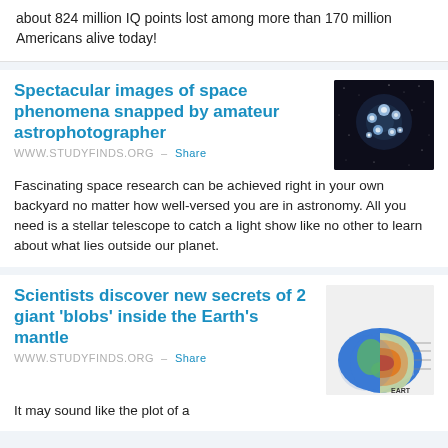about 824 million IQ points lost among more than 170 million Americans alive today!
Spectacular images of space phenomena snapped by amateur astrophotographer
WWW.STUDYFINDS.ORG – Share
[Figure (photo): Star cluster photograph showing bright blue-white stars against a dark background, taken by an amateur astrophotographer]
Fascinating space research can be achieved right in your own backyard no matter how well-versed you are in astronomy. All you need is a stellar telescope to catch a light show like no other to learn about what lies outside our planet.
Scientists discover new secrets of 2 giant 'blobs' inside the Earth's mantle
WWW.STUDYFINDS.ORG – Share
[Figure (illustration): Cross-section diagram of Earth showing internal layers including mantle, labeled as EARTH STRUCTURE]
It may sound like the plot of a